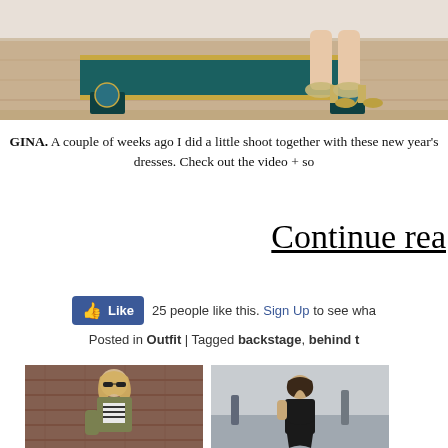[Figure (photo): Cropped photo showing a bench with teal/green color and gold trim on a parquet floor, with a person's legs in metallic heels sitting on it]
GINA. A couple of weeks ago I did a little shoot together with these new year's dresses. Check out the video + so
Continue rea
25 people like this. Sign Up to see wha
Posted in Outfit | Tagged backstage, behind t
[Figure (photo): Photo of a blonde woman wearing sunglasses, olive green jacket, and striped top, street style]
[Figure (photo): Photo of a woman in black outfit on a street with people in background]